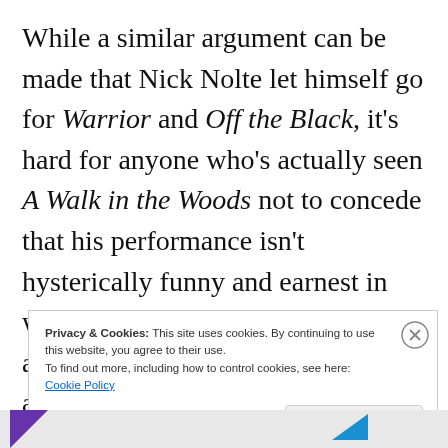While a similar argument can be made that Nick Nolte let himself go for Warrior and Off the Black, it's hard for anyone who's actually seen A Walk in the Woods not to concede that his performance isn't hysterically funny and earnest in ways that Rylance's repetitive attempts at levity in Bridge of Spies are not. Unfortunately, far
Privacy & Cookies: This site uses cookies. By continuing to use this website, you agree to their use. To find out more, including how to control cookies, see here: Cookie Policy